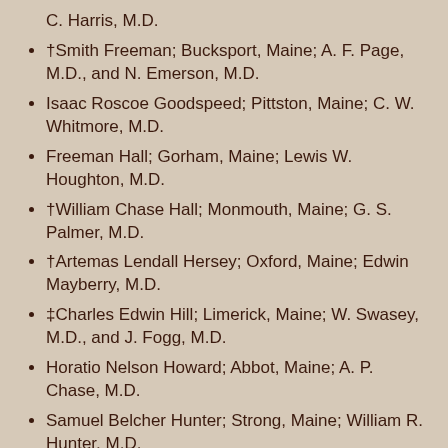C. Harris, M.D.
†Smith Freeman; Bucksport, Maine; A. F. Page, M.D., and N. Emerson, M.D.
Isaac Roscoe Goodspeed; Pittston, Maine; C. W. Whitmore, M.D.
Freeman Hall; Gorham, Maine; Lewis W. Houghton, M.D.
†William Chase Hall; Monmouth, Maine; G. S. Palmer, M.D.
†Artemas Lendall Hersey; Oxford, Maine; Edwin Mayberry, M.D.
‡Charles Edwin Hill; Limerick, Maine; W. Swasey, M.D., and J. Fogg, M.D.
Horatio Nelson Howard; Abbot, Maine; A. P. Chase, M.D.
Samuel Belcher Hunter; Strong, Maine; William R. Hunter, M.D.
Samuel Hutchins Hurd, A.B.; Charlestown, Massachusetts; E. R. Peaslee, M.D.